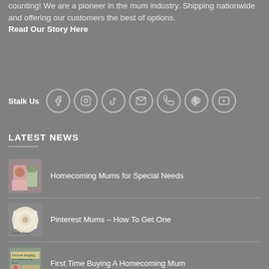counting! We are a pioneer in the mum industry. Shipping nationwide and offering our customers the best of options. Read Our Story Here
[Figure (other): Social media icons row with label 'Stalk Us': Facebook, Instagram, TikTok, Email, Phone, Pinterest, YouTube — each in a circle outline]
LATEST NEWS
[Figure (photo): Thumbnail image for Homecoming Mums for Special Needs article — woman in pink outfit]
Homecoming Mums for Special Needs
[Figure (photo): Thumbnail image for Pinterest Mums article — fluffy white mum flower]
Pinterest Mums – How To Get One
[Figure (photo): Thumbnail image for First Time Buying A Homecoming Mum article]
First Time Buying A Homecoming Mum